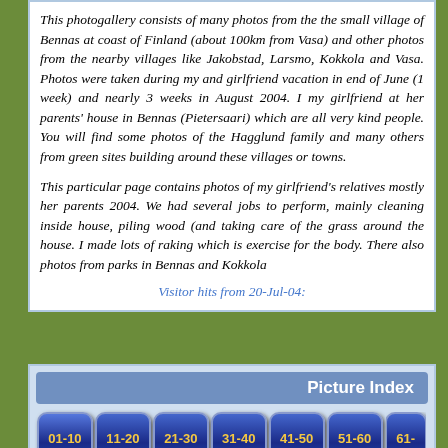This photogallery consists of many photos from the the small village of Bennas at coast of Finland (about 100km from Vasa) and other photos from the nearby villages like Jakobstad, Larsmo, Kokkola and Vasa. Photos were taken during my and girlfriend vacation in end of June (1 week) and nearly 3 weeks in August 2004. I my girlfriend at her parents' house in Bennas (Pietersaari) which are all very kind people. You will find some photos of the Hagglund family and many others from green sites building around these villages or towns.
This particular page contains photos of my girlfriend's relatives mostly her parents 2004. We had several jobs to perform, mainly cleaning inside house, piling wood and taking care of the grass around the house. I made lots of raking which is exercise for the body. There also photos from parks in Bennas and Kokkola
Visitor hits from 20-Jul-04:
Picture Index
01-10 Displayed
11-20 Click
21-30 Click
31-40 Click
41-50 Click
51-60 Click
61- Click